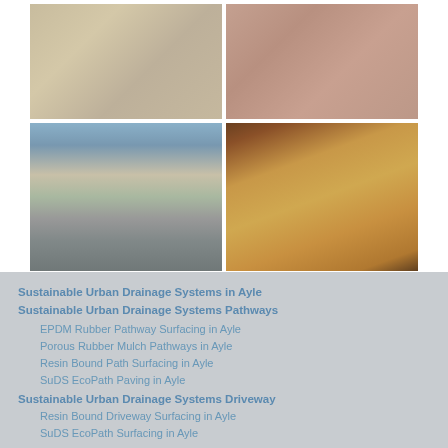[Figure (photo): Four photos in a 2x2 grid showing surfacing examples: top-left shows a close-up of pale tan/beige resin bound surface, top-right shows a close-up of pink/brown gravel or rubber mulch surface, bottom-left shows a house with a grey resin bound driveway, bottom-right shows a golden/amber resin bound path next to a brick wall.]
Sustainable Urban Drainage Systems in Ayle
Sustainable Urban Drainage Systems Pathways
EPDM Rubber Pathway Surfacing in Ayle
Porous Rubber Mulch Pathways in Ayle
Resin Bound Path Surfacing in Ayle
SuDS EcoPath Paving in Ayle
Sustainable Urban Drainage Systems Driveway
Resin Bound Driveway Surfacing in Ayle
SuDS EcoPath Surfacing in Ayle